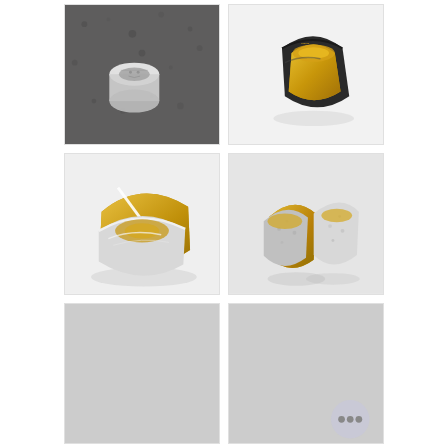[Figure (photo): Dark gravel background with a white cylindrical object (ring blank or tube) lying on the gravel surface, viewed from above.]
[Figure (photo): White background with a wide band ring featuring a dark/black oxidized exterior and a bright gold interior, viewed at an angle.]
[Figure (photo): White/light gray background showing two interlocking or stacked wide band rings in silver and gold metals, showing craftsmanship with a diagonal dividing line.]
[Figure (photo): Light gray background showing two paired wide band rings side by side, one gold and one with a textured silver/hammered exterior, with gold interior visible.]
[Figure (photo): Light gray placeholder image, no visible content.]
[Figure (photo): Light gray placeholder image with a circular dots menu button in the bottom-right corner.]